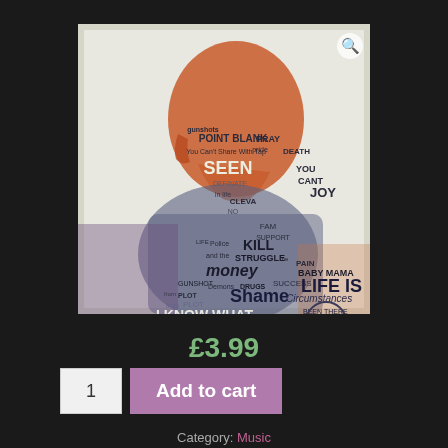[Figure (illustration): Album art cover with a silhouette of a person made up of text words including 'POINT BLANK', 'PRAY', 'SEEN', 'DEFINATE', 'JOY', 'KILL', 'STRUGGLE', 'Money', 'DRUGS', 'LIFE IS', 'Shame', 'Circumstances', 'I KNOW WHAT IT'S LIKE', 'No Shelter', and others. Orange/rust colored head silhouette with blue/grey body. White distressed background with a 'Cleva' logo circle at bottom right.]
£3.99
1
Add to cart
Category: Music